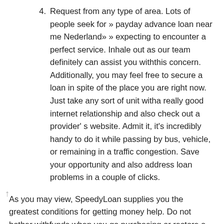4. Request from any type of area. Lots of people seek for » payday advance loan near me Nederland» » expecting to encounter a perfect service. Inhale out as our team definitely can assist you withthis concern. Additionally, you may feel free to secure a loan in spite of the place you are right now. Just take any sort of unit witha really good internet relationship and also check out a provider' s website. Admit it, it's incredibly handy to do it while passing by bus, vehicle, or remaining in a traffic congestion. Save your opportunity and also address loan problems in a couple of clicks.
As you may view, SpeedyLoan supplies you the greatest conditions for getting money help. Do not bother withfunds when you go purchasing or restore a car after a mishap. These concerns might be resolved effortlessly withthe help of professional assistance.